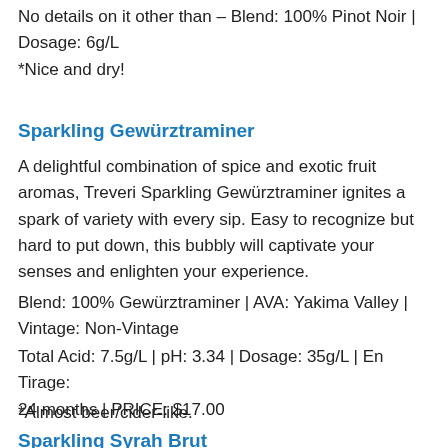No details on it other than – Blend: 100% Pinot Noir | Dosage: 6g/L
*Nice and dry!
Sparkling Gewürztraminer
A delightful combination of spice and exotic fruit aromas, Treveri Sparkling Gewürztraminer ignites a spark of variety with every sip. Easy to recognize but hard to put down, this bubbly will captivate your senses and enlighten your experience.
Blend: 100% Gewürztraminer | AVA: Yakima Valley | Vintage: Non-Vintage
Total Acid: 7.5g/L | pH: 3.34 | Dosage: 35g/L | En Tirage: 24 months | PRICE: $17.00
*Almost beer/cider-like.
Sparkling Syrah Brut